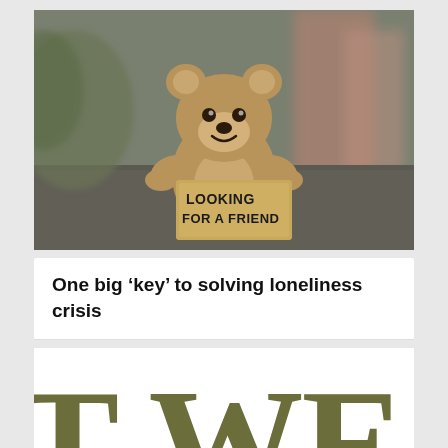[Figure (photo): A teddy bear sitting on a ground holding a cardboard sign that reads 'LOOKING FOR A FRIEND', photographed in a desaturated, moody outdoor setting.]
One big ‘key’ to solving loneliness crisis
[Figure (photo): Partial view of large olive/dark green serif letters 'WEA' from what appears to be a publication or logo masthead, cropped so only the top portion is visible.]